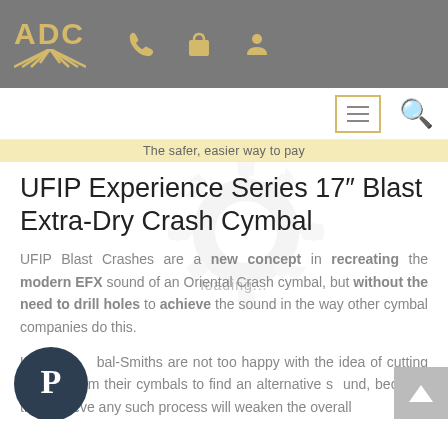ADC — header with phone, cart, and user icons
The safer, easier way to pay
UFIP Experience Series 17″ Blast Extra-Dry Crash Cymbal
UFIP Blast Crashes are a new concept in recreating the modern EFX sound of an Oriental Crash cymbal, but without the need to drill holes to achieve the sound in the way other cymbal companies do this.
UFIP Cymbal-Smiths are not too happy with the idea of cutting out sections from their cymbals to find an alternative sound, because they believe any such process will weaken the overall